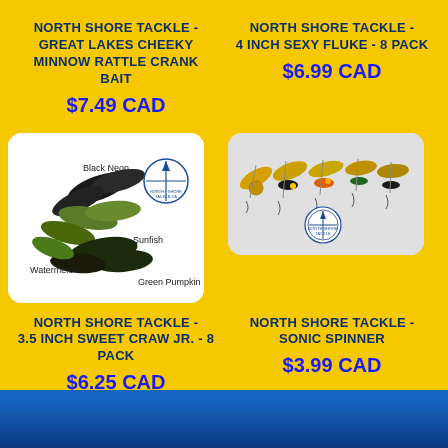NORTH SHORE TACKLE - Great Lakes Cheeky Minnow Rattle Crank Bait
$7.49 CAD
NORTH SHORE TACKLE - 4 Inch Sexy Fluke - 8 Pack
$6.99 CAD
[Figure (photo): Fishing lures in colors Black Neon, Sunfish, Watermelon, Green Pumpkin with North Shore Tackle logo]
[Figure (photo): Set of Sonic Spinner fishing lures in various colors with North Shore Tackle compass logo]
NORTH SHORE TACKLE - 3.5 Inch Sweet Craw Jr. - 8 Pack
$6.25 CAD
NORTH SHORE TACKLE - Sonic Spinner
$3.99 CAD